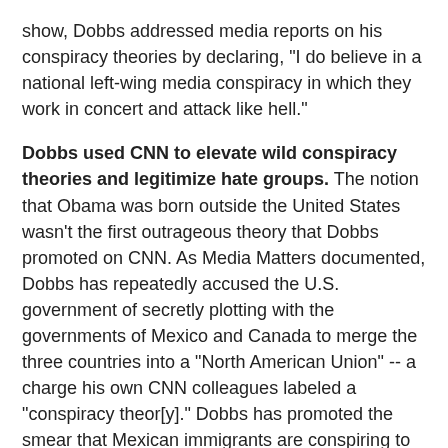show, Dobbs addressed media reports on his conspiracy theories by declaring, "I do believe in a national left-wing media conspiracy in which they work in concert and attack like hell."
Dobbs used CNN to elevate wild conspiracy theories and legitimize hate groups. The notion that Obama was born outside the United States wasn't the first outrageous theory that Dobbs promoted on CNN. As Media Matters documented, Dobbs has repeatedly accused the U.S. government of secretly plotting with the governments of Mexico and Canada to merge the three countries into a "North American Union" -- a charge his own CNN colleagues labeled a "conspiracy theor[y]." Dobbs has promoted the smear that Mexican immigrants are conspiring to reclaim the Southwest for Mexico and at one point illustrated this theory by using a graphic sourced to the Council of Conservative Citizens, a hate group that "oppose[s] all efforts to mix the races of mankind." Dobbs famously aired a false report about a purported spike in leprosy cases linked to illegal immigration and repeatedly defended his show's reporting even after it had been proven wrong.